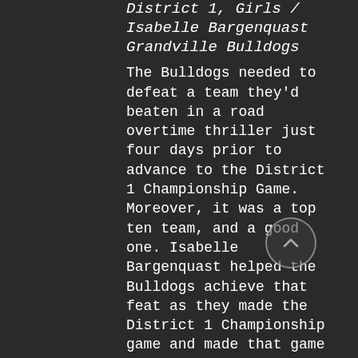District 1, Girls / Isabelle Bargenquast Grandville Bulldogs
The Bulldogs needed to defeat a team they'd beaten in a road overtime thriller just four days prior to advance to the District 1 Championship Game. Moreover, it was a top ten team, and a good one. Isabelle Bargenquast helped the Bulldogs achieve that feat as they made the District 1 Championship game and made that game a bit of a heart attack - falling by just two to #1 Hudsonville in a 7-5 loss. Bargenquast tallied eight times, drew nine exclusions, had six steals and three assists for Aubrie Scott and Chloe Graverson's Bulldogs last week. A productive week for a team that needed it.